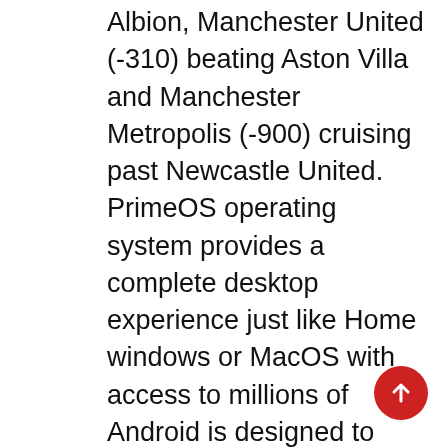Albion, Manchester United (-310) beating Aston Villa and Manchester Metropolis (-900) cruising past Newcastle United. PrimeOS operating system provides a complete desktop experience just like Home windows or MacOS with access to millions of Android is designed to carry you the very best of both worlds – a complete fusion of Android and PC. My daughter was the one girl on her Little League workforce within the late Eighties. Baseball helped train her some vital life classes. The U.S. National Group received the inaugural U.S. Cup â€˜ninety two in June, defeating Eire 3-1 and Portugal 1-0, and tying three-time World Cup champion Italy 1-1. The U.S. Indoor (5-a-Side) Group gained the silver medal at the 2nd FIFA Indoor 5-a-Facet World Championship in Hong Kong. The M(I)SL folded after 15 years in